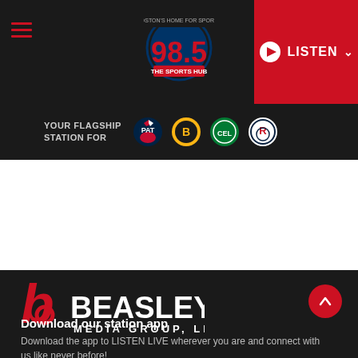98.5 The Sports Hub – Boston's Home for Sports
[Figure (logo): 98.5 The Sports Hub radio station logo]
LISTEN
YOUR FLAGSHIP STATION FOR
[Figure (logo): Team logos: New England Patriots, Boston Bruins, Boston Celtics, Revolution]
[Figure (logo): Beasley Media Group, LLC logo]
Download our station app
Download the app to LISTEN LIVE wherever you are and connect with us like never before!